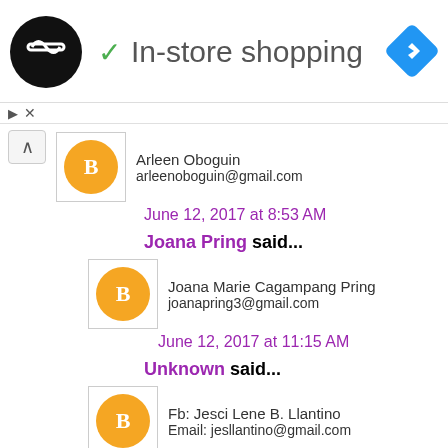[Figure (logo): Black circle logo with white infinity/loop symbol, green checkmark, and text 'In-store shopping' with blue diamond navigation icon]
Arleen Oboguin
arleenoboguin@gmail.com
June 12, 2017 at 8:53 AM
Joana Pring said...
Joana Marie Cagampang Pring
joanapring3@gmail.com
June 12, 2017 at 11:15 AM
Unknown said...
Fb: Jesci Lene B. Llantino
Email: jesllantino@gmail.com
June 12, 2017 at 4:08 PM
Unknown said...
Fb: Jesci Lene B. Llantino